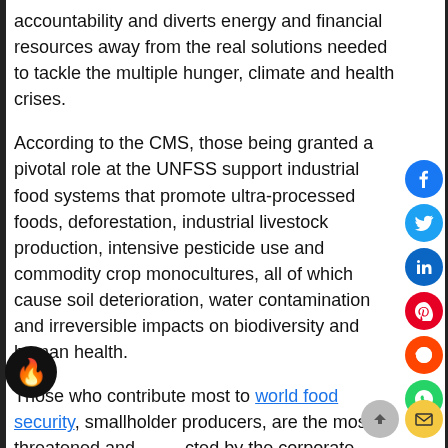accountability and diverts energy and financial resources away from the real solutions needed to tackle the multiple hunger, climate and health crises.
According to the CMS, those being granted a pivotal role at the UNFSS support industrial food systems that promote ultra-processed foods, deforestation, industrial livestock production, intensive pesticide use and commodity crop monocultures, all of which cause soil deterioration, water contamination and irreversible impacts on biodiversity and human health.
Those who contribute most to world food security, smallholder producers, are the most threatened and affected by the corporate concentration of land, seeds, natural and financial resources and the related privatisation of the commons and public